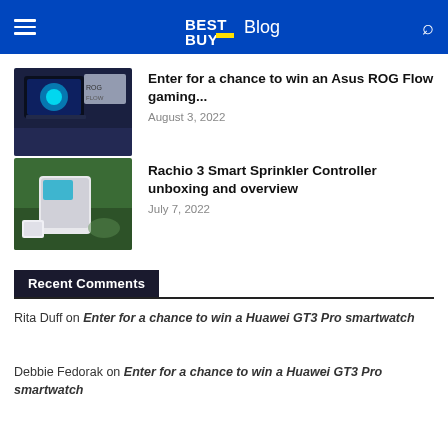BEST BUY Blog
[Figure (photo): Thumbnail image of Asus ROG Flow gaming laptop with blue lighting]
Enter for a chance to win an Asus ROG Flow gaming...
August 3, 2022
[Figure (photo): Thumbnail image of Rachio 3 Smart Sprinkler Controller on grass]
Rachio 3 Smart Sprinkler Controller unboxing and overview
July 7, 2022
Recent Comments
Rita Duff on Enter for a chance to win a Huawei GT3 Pro smartwatch
Debbie Fedorak on Enter for a chance to win a Huawei GT3 Pro smartwatch